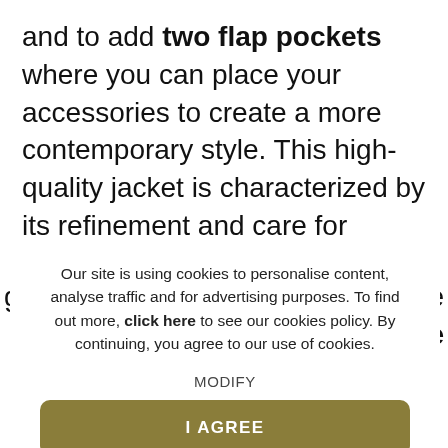and to add two flap pockets where you can place your accessories to create a more contemporary style. This high-quality jacket is characterized by its refinement and care for details, like hand stitching on buttons' holes and the flap pockets. Thanks to our Made in Italy accessories, we can gu...e te...
Our site is using cookies to personalise content, analyse traffic and for advertising purposes. To find out more, click here to see our cookies policy. By continuing, you agree to our use of cookies.
MODIFY
I AGREE